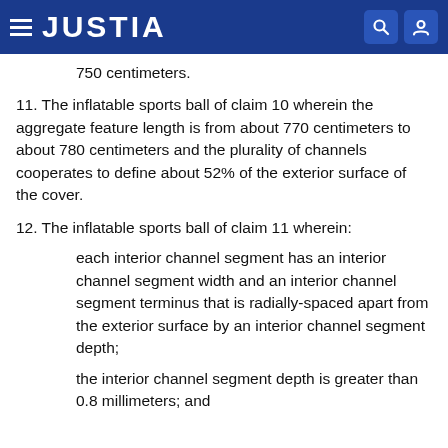JUSTIA
750 centimeters.
11. The inflatable sports ball of claim 10 wherein the aggregate feature length is from about 770 centimeters to about 780 centimeters and the plurality of channels cooperates to define about 52% of the exterior surface of the cover.
12. The inflatable sports ball of claim 11 wherein:
each interior channel segment has an interior channel segment width and an interior channel segment terminus that is radially-spaced apart from the exterior surface by an interior channel segment depth;
the interior channel segment depth is greater than 0.8 millimeters; and